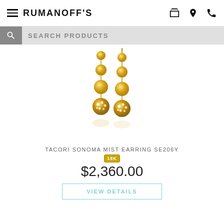RUMANOFF'S
SEARCH PRODUCTS
[Figure (photo): Gold drop earrings with three graduated gold beads and a pavé diamond ball drop at the bottom, shown as a pair with reflection.]
TACORI SONOMA MIST EARRING SE206Y
18K
$2,360.00
VIEW DETAILS